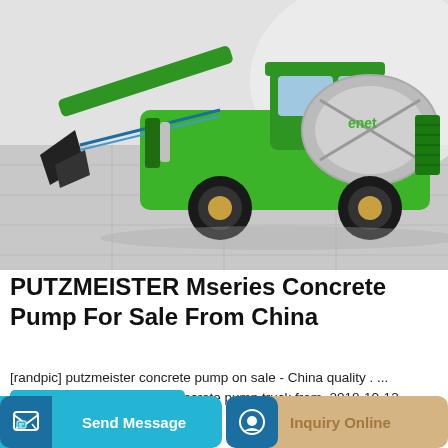[Figure (photo): A green PUTZMEISTER Mseries concrete pump truck with a large mixing drum and front loader arm, displayed on a white tiled floor background.]
PUTZMEISTER Mseries Concrete Pump For Sale From China
[randpic] putzmeister concrete pump on sale - China quality . ... PUTZMEISTER M36 M37 concrete pump truck from. 2018-10-12 China, Shanghai 45 000 EUR.
Learn More
Send Message
Inquiry Online